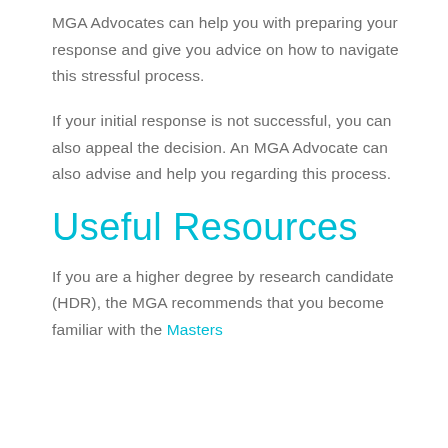MGA Advocates can help you with preparing your response and give you advice on how to navigate this stressful process.
If your initial response is not successful, you can also appeal the decision. An MGA Advocate can also advise and help you regarding this process.
Useful Resources
If you are a higher degree by research candidate (HDR), the MGA recommends that you become familiar with the Masters